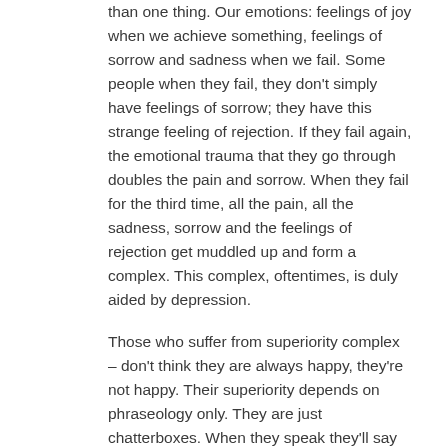than one thing. Our emotions: feelings of joy when we achieve something, feelings of sorrow and sadness when we fail. Some people when they fail, they don't simply have feelings of sorrow; they have this strange feeling of rejection. If they fail again, the emotional trauma that they go through doubles the pain and sorrow. When they fail for the third time, all the pain, all the sadness, sorrow and the feelings of rejection get muddled up and form a complex. This complex, oftentimes, is duly aided by depression.
Those who suffer from superiority complex – don't think they are always happy, they're not happy. Their superiority depends on phraseology only. They are just chatterboxes. When they speak they'll say they're better than you, but inside they know they're messed up.